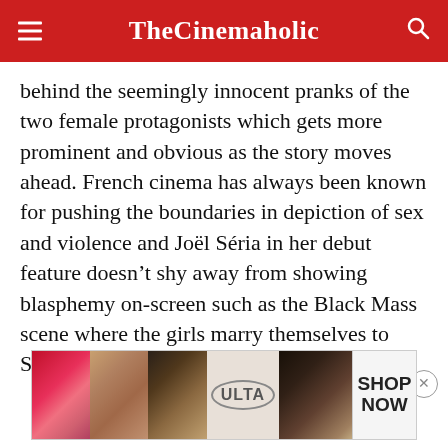TheCinemaholic
behind the seemingly innocent pranks of the two female protagonists which gets more prominent and obvious as the story moves ahead. French cinema has always been known for pushing the boundaries in depiction of sex and violence and Joël Séria in her debut feature doesn't shy away from showing blasphemy on-screen such as the Black Mass scene where the girls marry themselves to Satan.
[Figure (other): ULTA Beauty advertisement banner with makeup imagery showing lipstick, makeup brushes, eye makeup, and a face with dramatic eye makeup, with 'SHOP NOW' call to action]